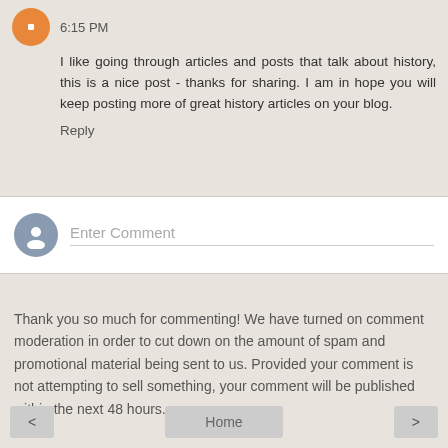6:15 PM
I like going through articles and posts that talk about history, this is a nice post - thanks for sharing. I am in hope you will keep posting more of great history articles on your blog.
Reply
[Figure (screenshot): Comment input box with gray avatar and 'Enter Comment' placeholder text]
Thank you so much for commenting! We have turned on comment moderation in order to cut down on the amount of spam and promotional material being sent to us. Provided your comment is not attempting to sell something, your comment will be published within the next 48 hours.
< Home >